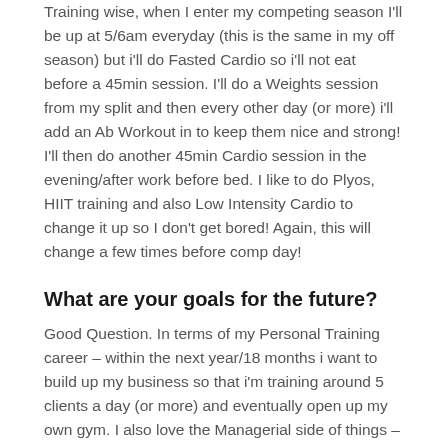Training wise, when I enter my competing season I'll be up at 5/6am everyday (this is the same in my off season) but i'll do Fasted Cardio so i'll not eat before a 45min session. I'll do a Weights session from my split and then every other day (or more) i'll add an Ab Workout in to keep them nice and strong! I'll then do another 45min Cardio session in the evening/after work before bed. I like to do Plyos, HIIT training and also Low Intensity Cardio to change it up so I don't get bored! Again, this will change a few times before comp day!
What are your goals for the future?
Good Question. In terms of my Personal Training career – within the next year/18 months i want to build up my business so that i'm training around 5 clients a day (or more) and eventually open up my own gym. I also love the Managerial side of things – So want to develop my career to a Managerial role